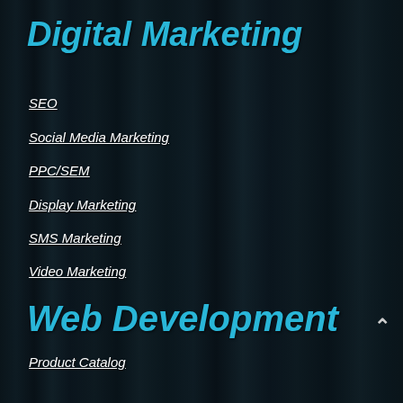Digital Marketing
SEO
Social Media Marketing
PPC/SEM
Display Marketing
SMS Marketing
Video Marketing
Web Development
Product Catalog
IDX
Business Listings
ERP
Lexa Class